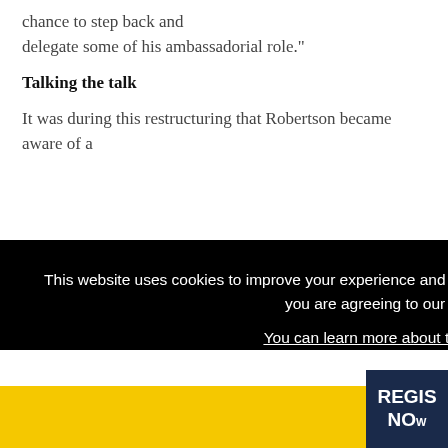chance to step back and delegate some of his ambassadorial role."
Talking the talk
It was during this restructuring that Robertson became aware of a
This website uses cookies to improve your experience and for ads personalisation. By continuing to browse this site you are agreeing to our use of these cookies. You can learn more about the cookies we use here.
OK
REGIS NO